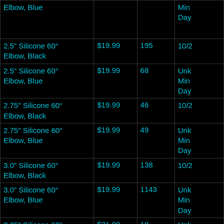| Product | Price | Qty | Date |
| --- | --- | --- | --- |
| Elbow, Blue |  |  | Min Day |
| 2.5" Silicone 60° Elbow, Black | $19.99 | 195 | 10/2 |
| 2.5" Silicone 60° Elbow, Blue | $19.99 | 68 | Unk Min Day |
| 2.75" Silicone 60° Elbow, Black | $19.99 | 46 | 10/2 |
| 2.75" Silicone 60° Elbow, Blue | $19.99 | 49 | Unk Min Day |
| 3.0" Silicone 60° Elbow, Black | $19.99 | 138 | 10/2 |
| 3.0" Silicone 60° Elbow, Blue | $19.99 | 1143 | Unk Min Day |
| 3.25" Silicone 60° Elbow, Black | $21.99 | 18 | Unk Min Day |
| 3.25" Silicone 60° Elbow, Blue | $21.99 | 20 | Unk Min Day |
| 3.5" Silicone 60° Elbow, Black | $21.99 | 49 | 10/2 |